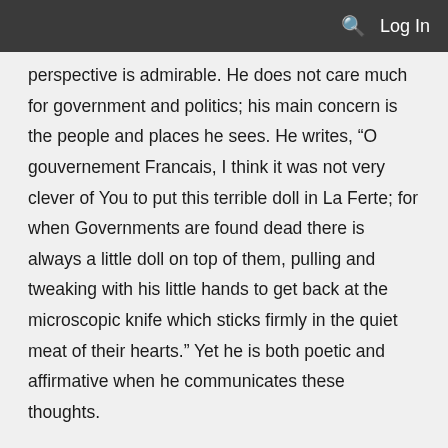Log In
perspective is admirable. He does not care much for government and politics; his main concern is the people and places he sees. He writes, “O gouvernement Francais, I think it was not very clever of You to put this terrible doll in La Ferte; for when Governments are found dead there is always a little doll on top of them, pulling and tweaking with his little hands to get back at the microscopic knife which sticks firmly in the quiet meat of their hearts.” Yet he is both poetic and affirmative when he communicates these thoughts.
       He by no means disregards the unjustness of his situation, (every now and then he makes snide observations about the politics of his situation) but